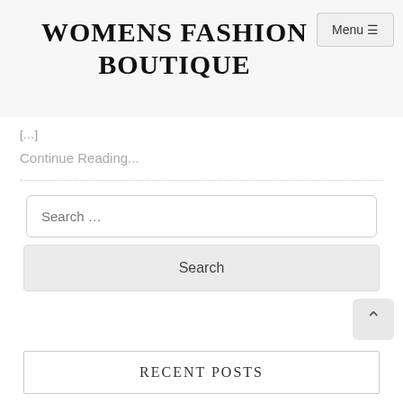WOMENS FASHION BOUTIQUE
Menu ☰
[…]
Continue Reading...
Search …
Search
RECENT POSTS